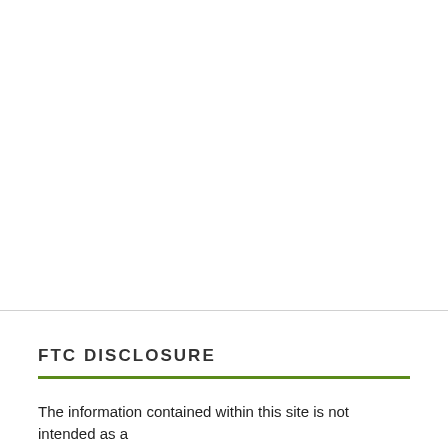FTC DISCLOSURE
The information contained within this site is not intended as a